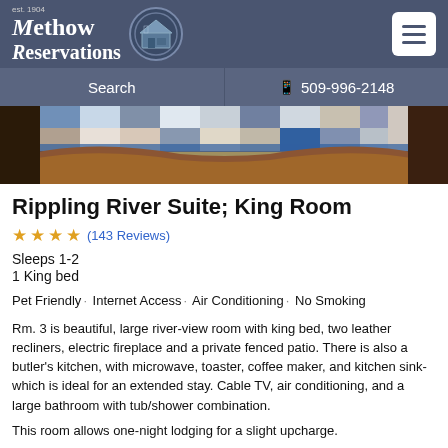Methow Reservations
[Figure (photo): Close-up photo of a bed with a blue and white patchwork quilt/comforter and a brown leather recliner chair in the foreground.]
Rippling River Suite; King Room
★★★★ (143 Reviews)
Sleeps 1-2
1 King bed
Pet Friendly· Internet Access· Air Conditioning· No Smoking
Rm. 3 is beautiful, large river-view room with king bed, two leather recliners, electric fireplace and a private fenced patio. There is also a butler's kitchen, with microwave, toaster, coffee maker, and kitchen sink-which is ideal for an extended stay. Cable TV, air conditioning, and a large bathroom with tub/shower combination.
This room allows one-night lodging for a slight upcharge.